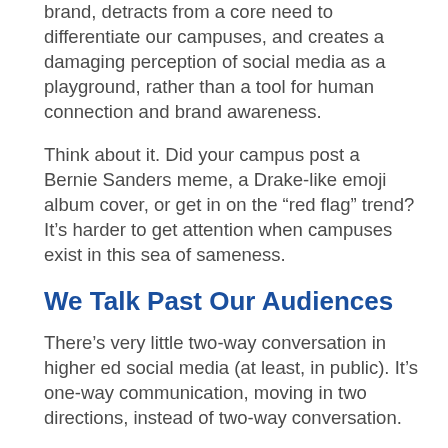brand, detracts from a core need to differentiate our campuses, and creates a damaging perception of social media as a playground, rather than a tool for human connection and brand awareness.
Think about it. Did your campus post a Bernie Sanders meme, a Drake-like emoji album cover, or get in on the “red flag” trend? It’s harder to get attention when campuses exist in this sea of sameness.
We Talk Past Our Audiences
There’s very little two-way conversation in higher ed social media (at least, in public). It’s one-way communication, moving in two directions, instead of two-way conversation.
A miniscule amount (3%) of public online conversation